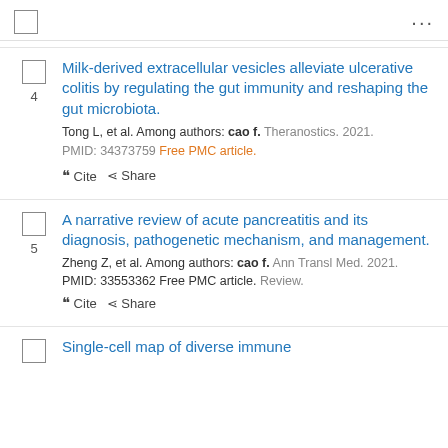4. Milk-derived extracellular vesicles alleviate ulcerative colitis by regulating the gut immunity and reshaping the gut microbiota. Tong L, et al. Among authors: cao f. Theranostics. 2021. PMID: 34373759 Free PMC article.
5. A narrative review of acute pancreatitis and its diagnosis, pathogenetic mechanism, and management. Zheng Z, et al. Among authors: cao f. Ann Transl Med. 2021. PMID: 33553362 Free PMC article. Review.
Single-cell map of diverse immune